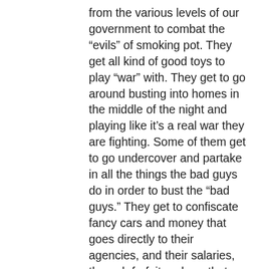from the various levels of our government to combat the “evils” of smoking pot. They get all kind of good toys to play “war” with. They get to go around busting into homes in the middle of the night and playing like it’s a real war they are fighting. Some of them get to go undercover and partake in all the things the bad guys do in order to bust the “bad guys.” They get to confiscate fancy cars and money that goes directly to their agencies, and their salaries, through forfeiture laws that are stacked against the average citizen. Many DEA agents and local drug task force agents owe their very livelihood to the war against drugs and marijuana, in particular, being illegal. It’s a self-sustaining industry that ironically depends on drugs being illegal and people continuing to buy and use them to sustain